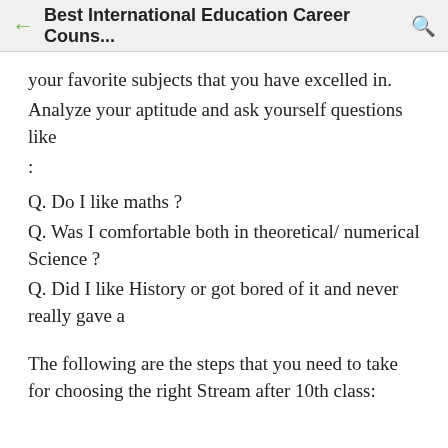Best International Education Career Couns...
your favorite subjects that you have excelled in.
Analyze your aptitude and ask yourself questions like :
Q. Do I like maths ?
Q. Was I comfortable both in theoretical/ numerical Science ?
Q. Did I like History or got bored of it and never really gave a
The following are the steps that you need to take for choosing the right Stream after 10th class: